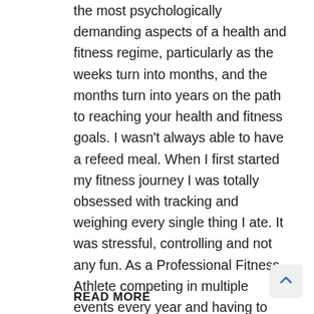the most psychologically demanding aspects of a health and fitness regime, particularly as the weeks turn into months, and the months turn into years on the path to reaching your health and fitness goals. I wasn't always able to have a refeed meal. When I first started my fitness journey I was totally obsessed with tracking and weighing every single thing I ate. It was stressful, controlling and not any fun. As a Professional Fitness Athlete competing in multiple events every year and having to
READ MORE